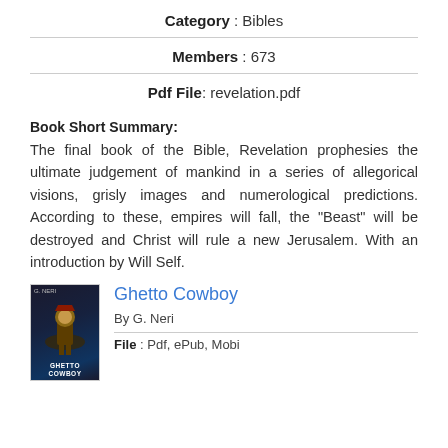Category : Bibles
Members : 673
Pdf File: revelation.pdf
Book Short Summary:
The final book of the Bible, Revelation prophesies the ultimate judgement of mankind in a series of allegorical visions, grisly images and numerological predictions. According to these, empires will fall, the "Beast" will be destroyed and Christ will rule a new Jerusalem. With an introduction by Will Self.
Ghetto Cowboy
By G. Neri
File : Pdf, ePub, Mobi